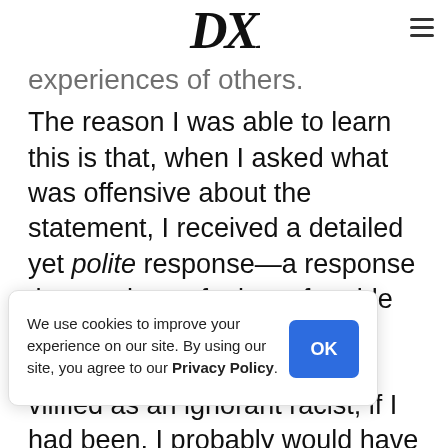DXE [logo] ≡
experiences of others.
The reason I was able to learn this is that, when I asked what was offensive about the statement, I received a detailed yet polite response—a response that made me feel comfortable sticking around, asking more and learning more.  I was not vilified as an ignorant racist; if I had been, I probably would have fled in my embarrassment, [why] anyone was [ve] been confused, [e] with that same [learning] experience is seldom mirrored in various social justice
We use cookies to improve your experience on our site. By using our site, you agree to our Privacy Policy.